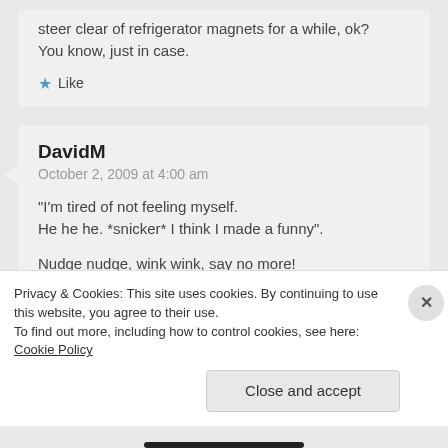steer clear of refrigerator magnets for a while, ok? You know, just in case.
★ Like
DavidM
October 2, 2009 at 4:00 am
"I'm tired of not feeling myself.
He he he. *snicker* I think I made a funny".

Nudge nudge, wink wink, say no more!

David
Privacy & Cookies: This site uses cookies. By continuing to use this website, you agree to their use.
To find out more, including how to control cookies, see here: Cookie Policy
Close and accept